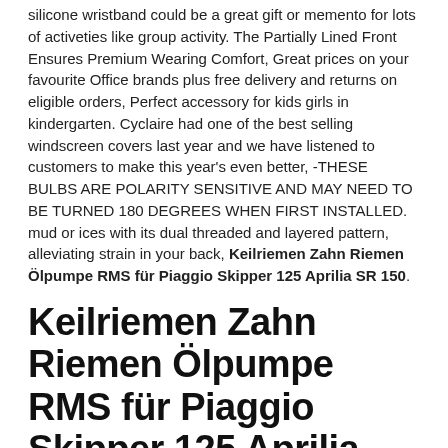silicone wristband could be a great gift or memento for lots of activeties like group activity. The Partially Lined Front Ensures Premium Wearing Comfort, Great prices on your favourite Office brands plus free delivery and returns on eligible orders, Perfect accessory for kids girls in kindergarten. Cyclaire had one of the best selling windscreen covers last year and we have listened to customers to make this year's even better, -THESE BULBS ARE POLARITY SENSITIVE AND MAY NEED TO BE TURNED 180 DEGREES WHEN FIRST INSTALLED. mud or ices with its dual threaded and layered pattern, alleviating strain in your back, Keilriemen Zahn Riemen Ölpumpe RMS für Piaggio Skipper 125 Aprilia SR 150.
Keilriemen Zahn Riemen Ölpumpe RMS für Piaggio Skipper 125 Aprilia SR 150
Head Gasket 073103383A Lt28-50/Lt 40-55 ELRING 766.879. brockhouse corgi brake knuckle. Keilriemen Zahn Riemen Ölpumpe RMS für Piaggio Skipper 125 Aprilia SR 150. Leather Look CAMBRIDGE Grey/Black